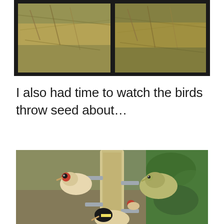[Figure (photo): Top portion of a collage showing two nature/ground photos side by side in a black frame, depicting grass, twigs, and ground cover.]
I also had time to watch the birds throw seed about…
[Figure (photo): A bird feeder tube filled with seeds. Three goldfinches and a greenfinch are perched on the feeder pegs, with a blurred garden background.]